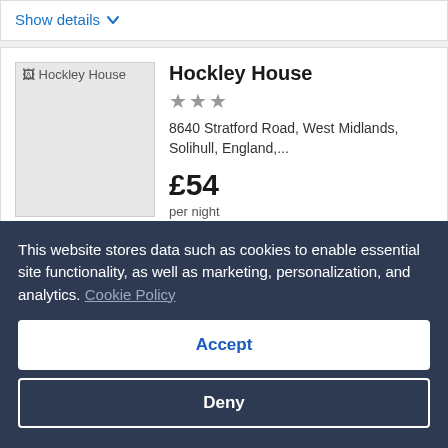Show details ∨
[Figure (photo): Hockley House hotel placeholder image with broken image icon and alt text 'Hockley House']
Hockley House
★★★
8640 Stratford Road, West Midlands, Solihull, England,...
£54
per night
11 Sep - 12 Sep
This website stores data such as cookies to enable essential site functionality, as well as marketing, personalization, and analytics. Cookie Policy
Accept
Deny